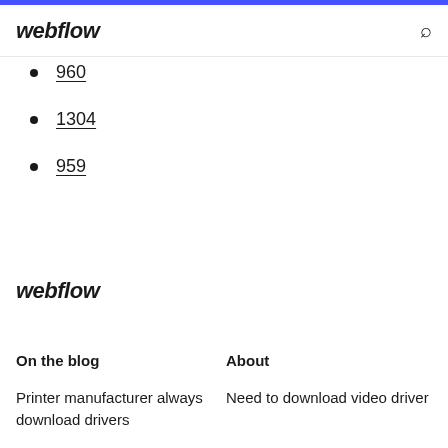webflow
960
1304
959
webflow
On the blog
About
Printer manufacturer always download drivers
Need to download video driver